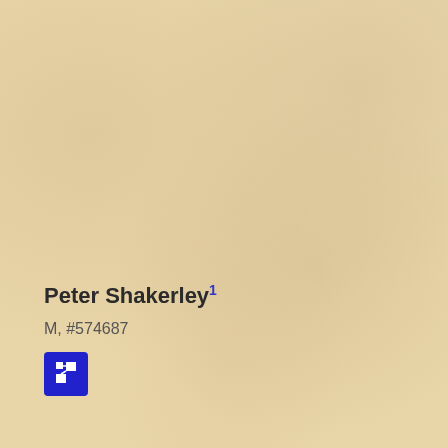Peter Shakerley1
M, #574687
[Figure (other): Blue icon box with a network/relationship diagram symbol (white squares connected)]